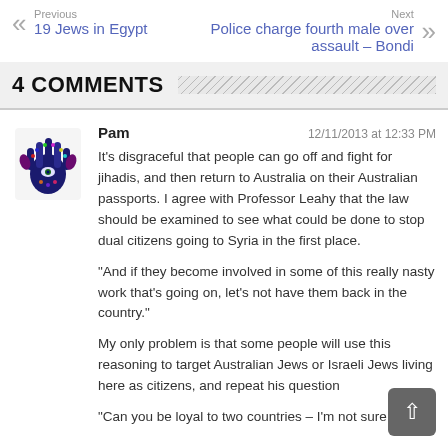Previous: 19 Jews in Egypt | Next: Police charge fourth male over assault – Bondi
4 COMMENTS
Pam — 12/11/2013 at 12:33 PM

It's disgraceful that people can go off and fight for jihadis, and then return to Australia on their Australian passports. I agree with Professor Leahy that the law should be examined to see what could be done to stop dual citizens going to Syria in the first place.

"And if they become involved in some of this really nasty work that's going on, let's not have them back in the country."

My only problem is that some people will use this reasoning to target Australian Jews or Israeli Jews living here as citizens, and repeat his question

"Can you be loyal to two countries – I'm not sure